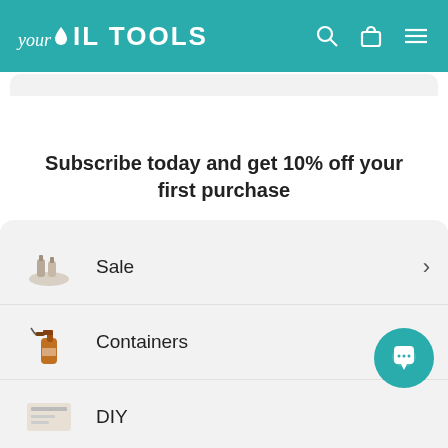your oil TOOLS
Subscribe today and get 10% off your first purchase
Enter your email
Sale
Containers
DIY